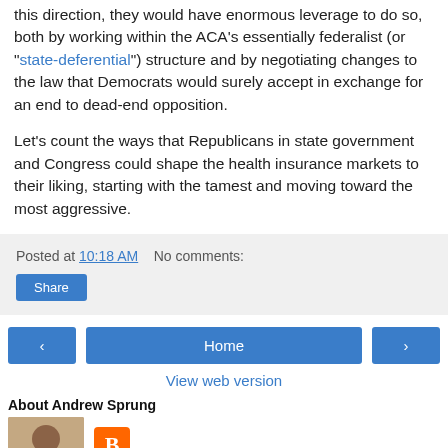this direction, they would have enormous leverage to do so, both by working within the ACA's essentially federalist (or "state-deferential") structure and by negotiating changes to the law that Democrats would surely accept in exchange for an end to dead-end opposition.
Let's count the ways that Republicans in state government and Congress could shape the health insurance markets to their liking, starting with the tamest and moving toward the most aggressive.
Posted at 10:18 AM   No comments:
Share
‹   Home   ›
View web version
About Andrew Sprung
[Figure (photo): Profile photo thumbnail of Andrew Sprung and Blogger icon]